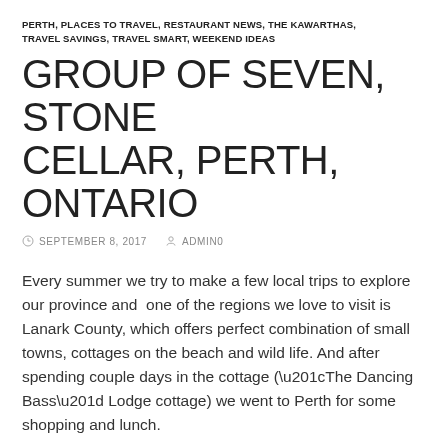PERTH, PLACES TO TRAVEL, RESTAURANT NEWS, THE KAWARTHAS, TRAVEL SAVINGS, TRAVEL SMART, WEEKEND IDEAS
GROUP OF SEVEN, STONE CELLAR, PERTH, ONTARIO
SEPTEMBER 8, 2017   ADMIN0
Every summer we try to make a few local trips to explore our province and one of the regions we love to visit is Lanark County, which offers perfect combination of small towns, cottages on the beach and wild life. And after spending couple days in the cottage (“The Dancing Bass” Lodge cottage) we went to Perth for some shopping and lunch.
That lunch was a very special treat for us! Based on the art of Famous Canadian Group of Seven Chef Jamie Troutman from “The Stone Cellar” created the menu that interprets various elements present in paintings in “edible art”. Hours of research